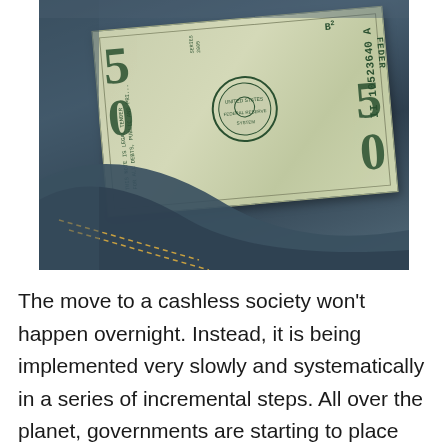[Figure (photo): A US $50 bill tucked into a denim jeans pocket, photographed close-up. The bill is partially visible showing the serial number II10523640A, the seal, and the text THIS NOTE IS LEGAL TENDER FOR ALL DEBTS, PUBLIC AND PRI... SERIES 2005, B2. The denim fabric is dark blue with visible stitching.]
The move to a cashless society won't happen overnight. Instead, it is being implemented very slowly and systematically in a series of incremental steps. All over the planet, governments are starting to place restrictions on the use of cash for security reasons. As citizens, we